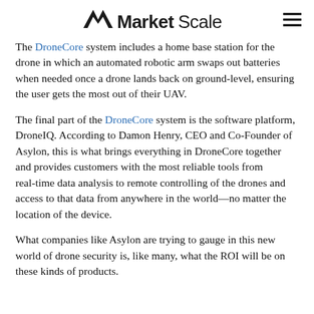MarketScale
The DroneCore system includes a home base station for the drone in which an automated robotic arm swaps out batteries when needed once a drone lands back on ground-level, ensuring the user gets the most out of their UAV.
The final part of the DroneCore system is the software platform, DroneIQ. According to Damon Henry, CEO and Co-Founder of Asylon, this is what brings everything in DroneCore together and provides customers with the most reliable tools from real-time data analysis to remote controlling of the drones and access to that data from anywhere in the world—no matter the location of the device.
What companies like Asylon are trying to gauge in this new world of drone security is, like many, what the ROI will be on these kinds of products.